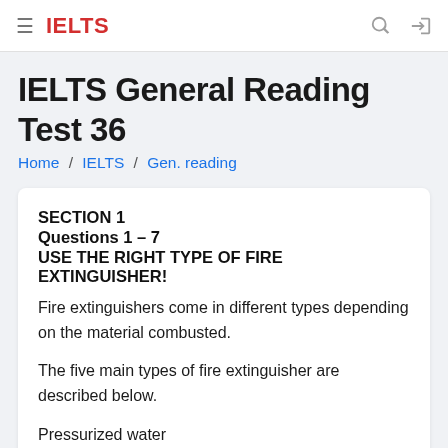≡  IELTS
IELTS General Reading Test 36
Home / IELTS / Gen. reading
SECTION 1
Questions 1 – 7
USE THE RIGHT TYPE OF FIRE EXTINGUISHER!
Fire extinguishers come in different types depending on the material combusted.
The five main types of fire extinguisher are described below.
Pressurized water
Used for Class A fires only.